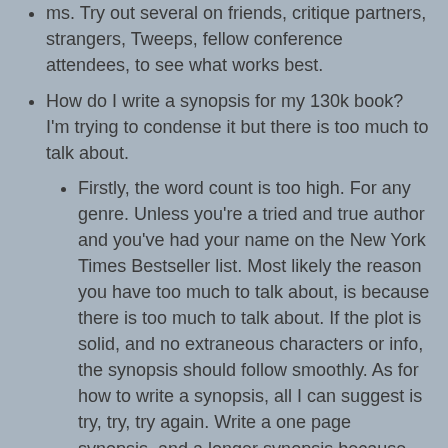ms. Try out several on friends, critique partners, strangers, Tweeps, fellow conference attendees, to see what works best.
How do I write a synopsis for my 130k book? I'm trying to condense it but there is too much to talk about.
Firstly, the word count is too high. For any genre. Unless you're a tried and true author and you've had your name on the New York Times Bestseller list. Most likely the reason you have too much to talk about, is because there is too much to talk about. If the plot is solid, and no extraneous characters or info, the synopsis should follow smoothly. As for how to write a synopsis, all I can suggest is try, try, try again. Write a one page synopsis, and a longer synopsis because